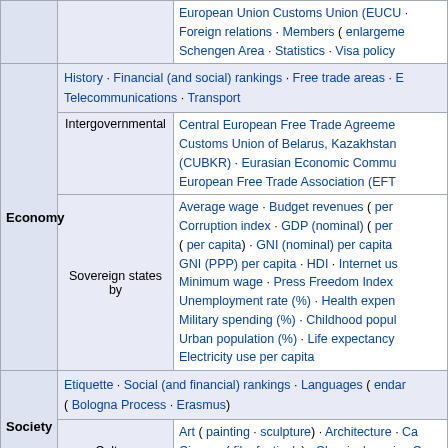|  |  | European Union Customs Union (EUCU) · Foreign relations · Members ( enlargeme... · Schengen Area · Statistics · Visa policy |
| Economy | History · Financial (and social) rankings · Free trade areas · E... · Telecommunications · Transport |  |
|  | Intergovernmental | Central European Free Trade Agreeme... · Customs Union of Belarus, Kazakhstan (CUBKR) · Eurasian Economic Commu... · European Free Trade Association (EFT... |
|  | Sovereign states by | Average wage · Budget revenues ( per... · Corruption index · GDP (nominal) ( per... ( per capita) · GNI (nominal) per capita · GNI (PPP) per capita · HDI · Internet us... · Minimum wage · Press Freedom Index · Unemployment rate (%) · Health expen... · Military spending (%) · Childhood popul... · Urban population (%) · Life expectancy · Electricity use per capita |
| Society | Etiquette · Social (and financial) rankings · Languages ( endar... ( Bologna Process · Erasmus) |  |
|  | Culture | Art ( painting · sculpture) · Architecture · Ca... · Cinema ( film festivals) · Classical music · Cu... · Literature · Philosophy · Religion ( Christianit... |